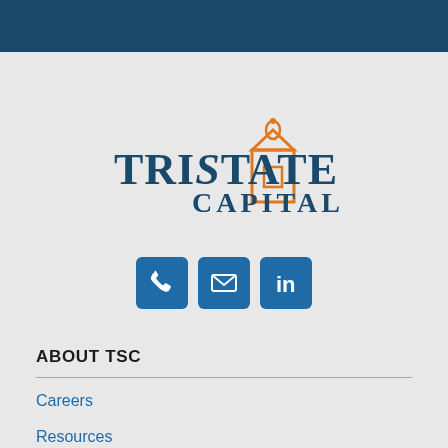[Figure (logo): TriState Capital logo with orange building icon and dark blue serif text reading TRISTATE CAPITAL]
[Figure (infographic): Three square blue icon buttons: phone icon, email/envelope icon, and LinkedIn icon]
ABOUT TSC
Careers
Resources
Investor Relations